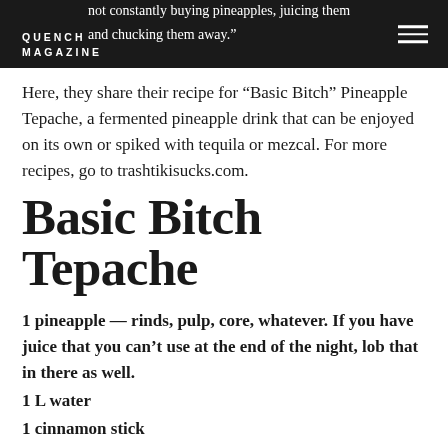not constantly buying pineapples, juicing them and chucking them away." QUENCH MAGAZINE
Here, they share their recipe for “Basic Bitch” Pineapple Tepache, a fermented pineapple drink that can be enjoyed on its own or spiked with tequila or mezcal. For more recipes, go to trashtikisucks.com.
Basic Bitch Tepache
1 pineapple — rinds, pulp, core, whatever. If you have juice that you can’t use at the end of the night, lob that in there as well.
1 L water
1 cinnamon stick